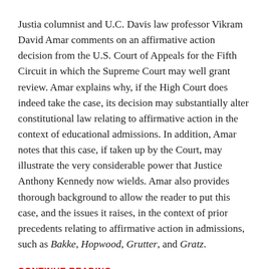Justia columnist and U.C. Davis law professor Vikram David Amar comments on an affirmative action decision from the U.S. Court of Appeals for the Fifth Circuit in which the Supreme Court may well grant review. Amar explains why, if the High Court does indeed take the case, its decision may substantially alter constitutional law relating to affirmative action in the context of educational admissions. In addition, Amar notes that this case, if taken up by the Court, may illustrate the very considerable power that Justice Anthony Kennedy now wields. Amar also provides thorough background to allow the reader to put this case, and the issues it raises, in the context of prior precedents relating to affirmative action in admissions, such as Bakke, Hopwood, Grutter, and Gratz.
CONTINUE READING
POSTED IN: CIVIL RIGHTS